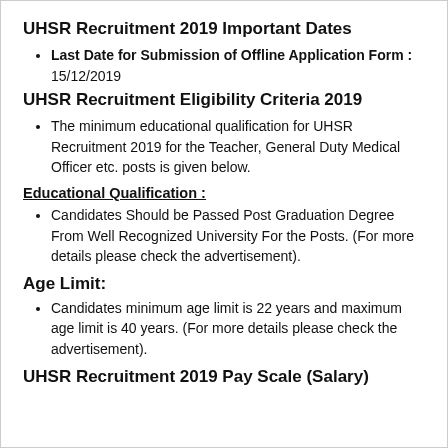UHSR Recruitment 2019 Important Dates
Last Date for Submission of Offline Application Form : 15/12/2019
UHSR Recruitment Eligibility Criteria 2019
The minimum educational qualification for UHSR Recruitment 2019 for the Teacher, General Duty Medical Officer etc. posts is given below.
Educational Qualification :
Candidates Should be Passed Post Graduation Degree From Well Recognized University For the Posts. (For more details please check the advertisement).
Age Limit:
Candidates minimum age limit is 22 years and maximum age limit is 40 years. (For more details please check the advertisement).
UHSR Recruitment 2019 Pay Scale (Salary)